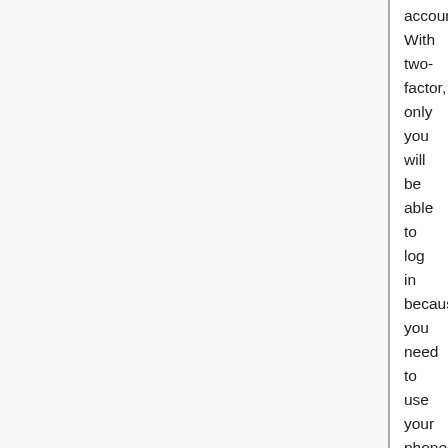account. With two-factor, only you will be able to log in because you need to use your phone to approve logins.
Multifactor Authentication (MFA or Two Factor Authentication) is required for William Paterson University faculty and staff for WPconnect, email, VPN Access, and additional WP services. WPUNJ's Duo multifactor authentication application will provide an extra layer of security to ensure that only you login to your account. We are now encouraging students to enroll as well, and to utilize the Duo Mobile App.
What is Duo Multifactor Authentication?
Duo is a Multifactor Authentication product that the university is implementing to secure our WP